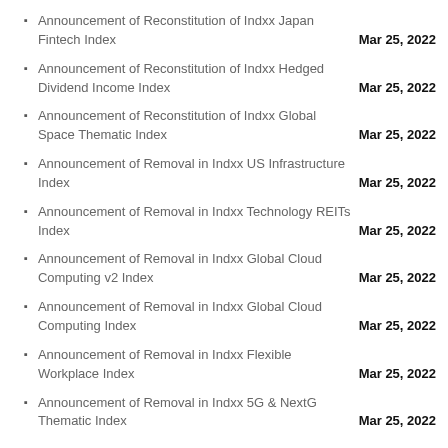Announcement of Reconstitution of Indxx Japan Fintech Index	Mar 25, 2022
Announcement of Reconstitution of Indxx Hedged Dividend Income Index	Mar 25, 2022
Announcement of Reconstitution of Indxx Global Space Thematic Index	Mar 25, 2022
Announcement of Removal in Indxx US Infrastructure Index	Mar 25, 2022
Announcement of Removal in Indxx Technology REITs Index	Mar 25, 2022
Announcement of Removal in Indxx Global Cloud Computing v2 Index	Mar 25, 2022
Announcement of Removal in Indxx Global Cloud Computing Index	Mar 25, 2022
Announcement of Removal in Indxx Flexible Workplace Index	Mar 25, 2022
Announcement of Removal in Indxx 5G & NextG Thematic Index	Mar 25, 2022